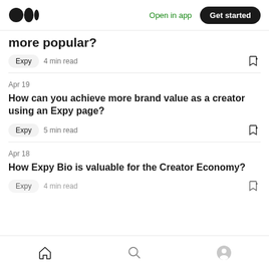Medium logo | Open in app | Get started
more popular?
Expy  4 min read
Apr 19
How can you achieve more brand value as a creator using an Expy page?
Expy  5 min read
Apr 18
How Expy Bio is valuable for the Creator Economy?
Expy  4 min read
Home | Search | Profile